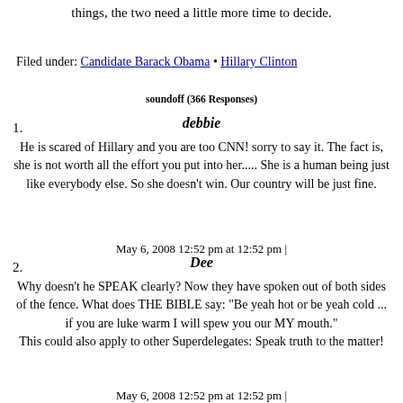things, the two need a little more time to decide.
Filed under: Candidate Barack Obama • Hillary Clinton
soundoff (366 Responses)
1. debbie — He is scared of Hillary and you are too CNN! sorry to say it. The fact is, she is not worth all the effort you put into her..... She is a human being just like everybody else. So she doesn't win. Our country will be just fine.
May 6, 2008 12:52 pm at 12:52 pm |
2. Dee — Why doesn't he SPEAK clearly? Now they have spoken out of both sides of the fence. What does THE BIBLE say: "Be yeah hot or be yeah cold ... if you are luke warm I will spew you our MY mouth." This could also apply to other Superdelegates: Speak truth to the matter!
May 6, 2008 12:52 pm at 12:52 pm |